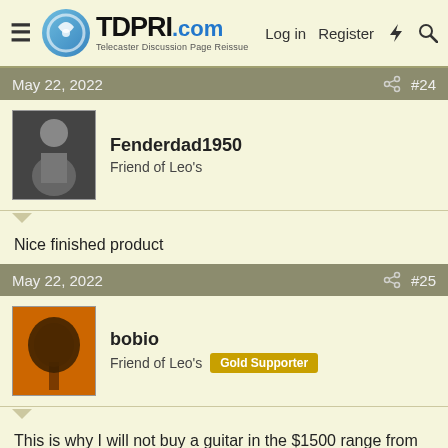TDPRI.com — Telecaster Discussion Page Reissue — Log in | Register
May 22, 2022  #24
Fenderdad1950
Friend of Leo's
Nice finished product
May 22, 2022  #25
bobio
Friend of Leo's  Gold Supporter
This is why I will not buy a guitar in the $1500 range from anywhere but Sweetwater.
Had I received something with the problems the OP stated, it would have gone right back.

I have many more partscasters than factory Fenders, mainly because Fender doesn't always offer configurations I am looking